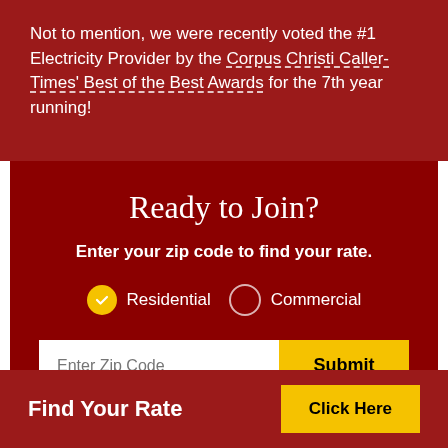Not to mention, we were recently voted the #1 Electricity Provider by the Corpus Christi Caller-Times' Best of the Best Awards for the 7th year running!
Ready to Join?
Enter your zip code to find your rate.
Find Your Rate